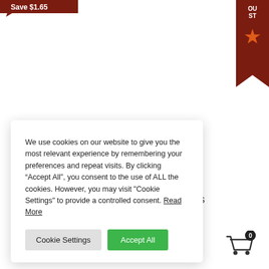[Figure (illustration): Dark red/maroon speech-bubble shaped badge with white text 'Save $1.65' partially visible at top-left corner of page]
[Figure (illustration): Dark red/maroon ribbon bookmark shape at top-right with white text 'OU ST' and an orange star icon]
We use cookies on our website to give you the most relevant experience by remembering your preferences and repeat visits. By clicking “Accept All”, you consent to the use of ALL the cookies. However, you may visit "Cookie Settings" to provide a controlled consent. Read More
Cookie Settings
Accept All
les
[Figure (illustration): Shopping cart icon with a badge showing the number 0, positioned at bottom-right]